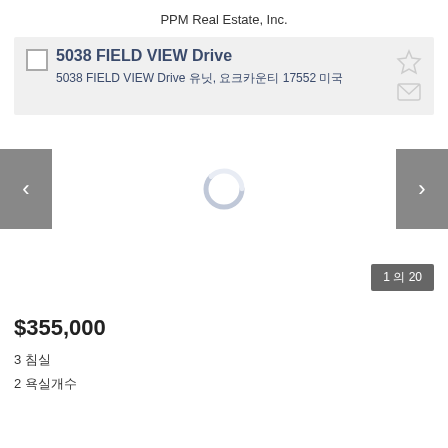PPM Real Estate, Inc.
5038 FIELD VIEW Drive
5038 FIELD VIEW Drive 유닛, 요크카운티 17552 미국
[Figure (screenshot): Photo carousel with left/right navigation arrows and a loading spinner in the center. Page indicator showing '1 / 20' in bottom right.]
$355,000
3 침실
2 욕실개수